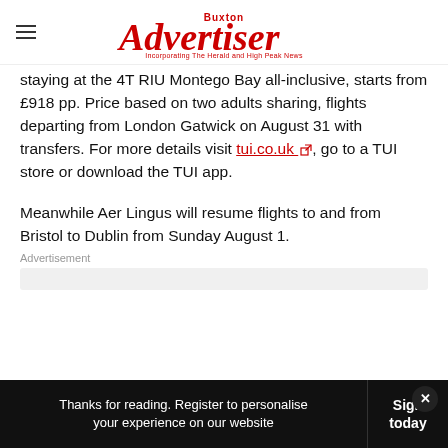Buxton Advertiser — Incorporating The Herald and High Peak News
staying at the 4T RIU Montego Bay all-inclusive, starts from £918 pp. Price based on two adults sharing, flights departing from London Gatwick on August 31 with transfers. For more details visit tui.co.uk, go to a TUI store or download the TUI app.
Meanwhile Aer Lingus will resume flights to and from Bristol to Dublin from Sunday August 1.
Thanks for reading. Register to personalise your experience on our website | Sign in today